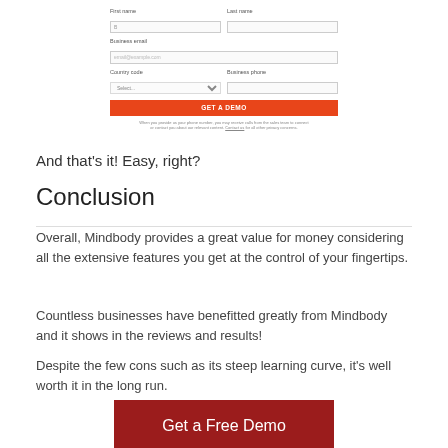[Figure (screenshot): A web form with fields for First name, Last name, Business email, Country code (dropdown), Business phone, and a red GET A DEMO button, followed by a disclaimer text.]
And that's it! Easy, right?
Conclusion
Overall, Mindbody provides a great value for money considering all the extensive features you get at the control of your fingertips.
Countless businesses have benefitted greatly from Mindbody and it shows in the reviews and results!
Despite the few cons such as its steep learning curve, it's well worth it in the long run.
[Figure (screenshot): A dark red button labeled 'Get a Free Demo']